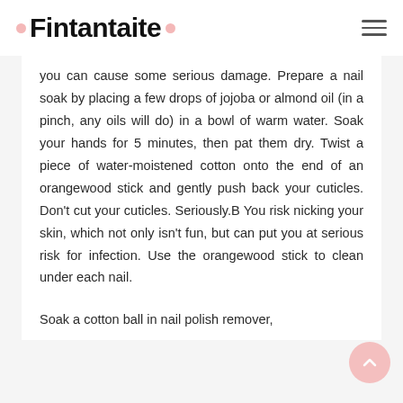Fintantaite
you can cause some serious damage. Prepare a nail soak by placing a few drops of jojoba or almond oil (in a pinch, any oils will do) in a bowl of warm water. Soak your hands for 5 minutes, then pat them dry. Twist a piece of water-moistened cotton onto the end of an orangewood stick and gently push back your cuticles. Don't cut your cuticles. Seriously.B You risk nicking your skin, which not only isn't fun, but can put you at serious risk for infection. Use the orangewood stick to clean under each nail.
Soak a cotton ball in nail polish remover,